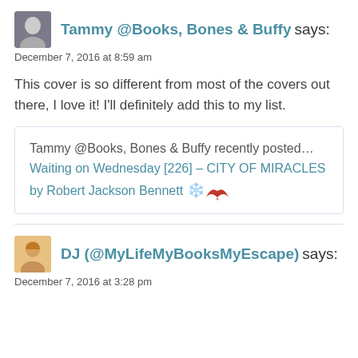Tammy @Books, Bones & Buffy says:
December 7, 2016 at 8:59 am
This cover is so different from most of the covers out there, I love it! I'll definitely add this to my list.
Tammy @Books, Bones & Buffy recently posted…Waiting on Wednesday [226] – CITY OF MIRACLES by Robert Jackson Bennett 🕊️
DJ (@MyLifeMyBooksMyEscape) says:
December 7, 2016 at 3:28 pm